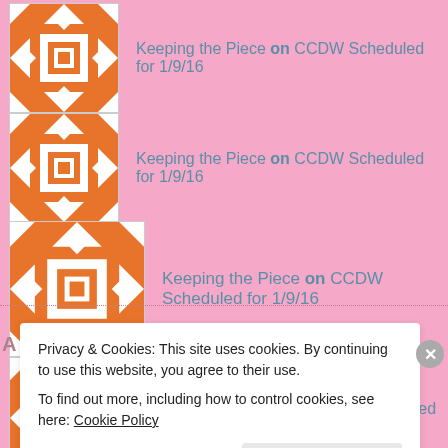Keeping the Piece on CCDW Scheduled for 1/9/16
Keeping the Piece on CCDW Scheduled for 1/9/16
Keeping the Piece on CCDW Scheduled for 1/9/16
Keeping the Piece on CCDW Scheduled for 1/9/16
Privacy & Cookies: This site uses cookies. By continuing to use this website, you agree to their use. To find out more, including how to control cookies, see here: Cookie Policy
Close and accept